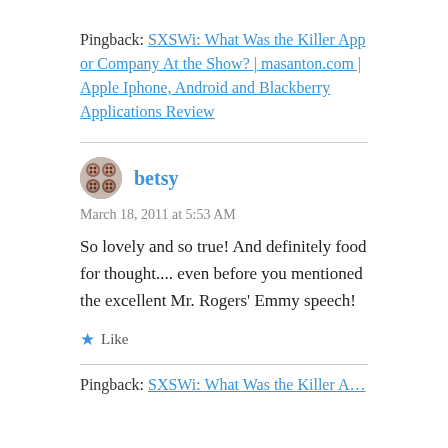Pingback: SXSWi: What Was the Killer App or Company At the Show? | masanton.com | Apple Iphone, Android and Blackberry Applications Review
betsy
March 18, 2011 at 5:53 AM
So lovely and so true! And definitely food for thought.... even before you mentioned the excellent Mr. Rogers' Emmy speech!
★ Like
Pingback: SXSWi: What Was the Killer A…